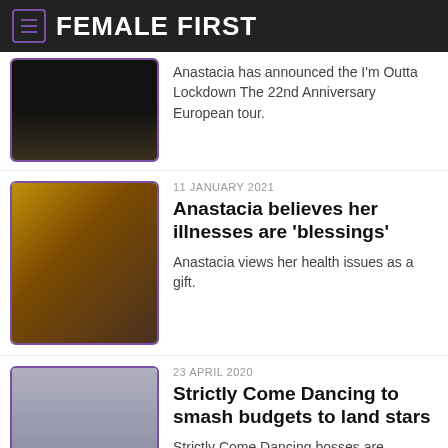FEMALE FIRST
Anastacia has announced the I'm Outta Lockdown The 22nd Anniversary European tour.
11 JANUARY 2021
Anastacia believes her illnesses are 'blessings'
Anastacia views her health issues as a gift.
23 APRIL 2020
Strictly Come Dancing to smash budgets to land stars
Strictly Come Dancing bosses are reportedly preparing to smash their budgets to land big-name stars for this.